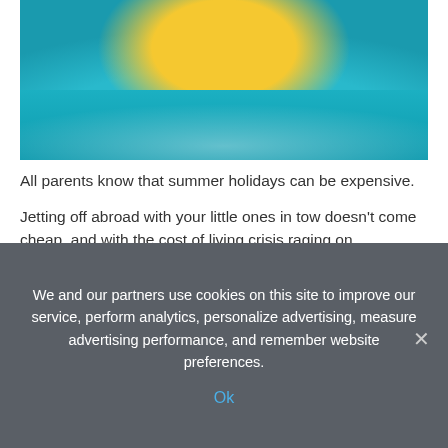[Figure (photo): Child swimming with a yellow inflatable ring in turquoise water, seen from above]
All parents know that summer holidays can be expensive.
Jetting off abroad with your little ones in tow doesn't come cheap, and with the cost of living crisis raging on, budgeting is more important than ever.
To help holiday-makers save some extra cash this summer, Instagram pum, Emma Stretton, partnered with Little Loans to share her top holiday saving hacks.
Emma, a mum-of-two and savvy-saver living in Manchester, is off on her first-ever holiday in three years this summer with...
We and our partners use cookies on this site to improve our service, perform analytics, personalize advertising, measure advertising performance, and remember website preferences.
Ok